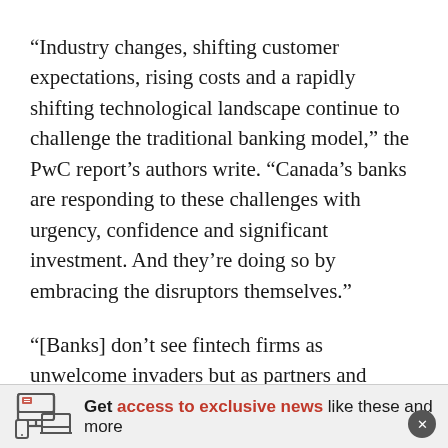“Industry changes, shifting customer expectations, rising costs and a rapidly shifting technological landscape continue to challenge the traditional banking model,” the PwC report’s authors write. “Canada’s banks are responding to these challenges with urgency, confidence and significant investment. And they’re doing so by embracing the disruptors themselves.”
“[Banks] don’t see fintech firms as unwelcome invaders but as partners and collaborators—as sources of fresh thinking and creative technologies that can help elevate the customer experience and
[Figure (other): Promotional banner with device icon showing: Get access to exclusive news like these and more]